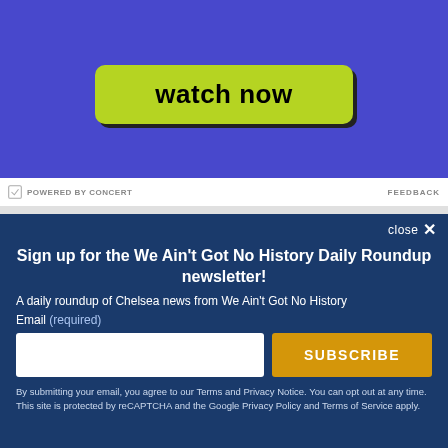[Figure (screenshot): Advertisement banner with blue/purple background showing a 'watch now' button in yellow-green]
POWERED BY CONCERT
FEEDBACK
Sign up for the We Ain't Got No History Daily Roundup newsletter!
A daily roundup of Chelsea news from We Ain't Got No History
Email (required)
SUBSCRIBE
By submitting your email, you agree to our Terms and Privacy Notice. You can opt out at any time. This site is protected by reCAPTCHA and the Google Privacy Policy and Terms of Service apply.